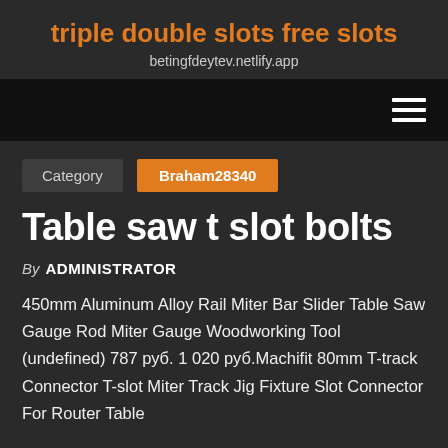triple double slots free slots
betingfdeytev.netlify.app
Table saw t slot bolts
By ADMINISTRATOR
Category  Braham28340
450mm Aluminum Alloy Rail Miter Bar Slider Table Saw Gauge Rod Miter Gauge Woodworking Tool (undefined) 787 руб. 1 020 руб.Machifit 80mm T-track Connector T-slot Miter Track Jig Fixture Slot Connector For Router Table